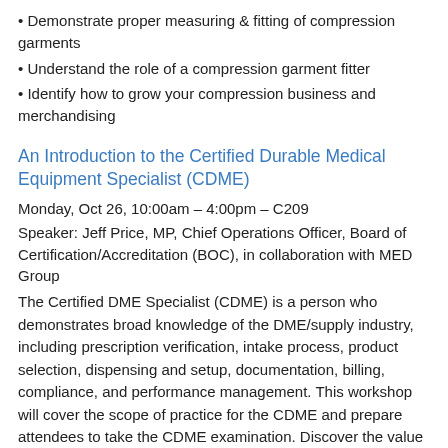Demonstrate proper measuring & fitting of compression garments
Understand the role of a compression garment fitter
Identify how to grow your compression business and merchandising
An Introduction to the Certified Durable Medical Equipment Specialist (CDME)
Monday, Oct 26, 10:00am – 4:00pm – C209
Speaker: Jeff Price, MP, Chief Operations Officer, Board of Certification/Accreditation (BOC), in collaboration with MED Group
The Certified DME Specialist (CDME) is a person who demonstrates broad knowledge of the DME/supply industry, including prescription verification, intake process, product selection, dispensing and setup, documentation, billing, compliance, and performance management. This workshop will cover the scope of practice for the CDME and prepare attendees to take the CDME examination. Discover the value of the CDME for facilities in a challenging industry climate and how to market the credential to customers, referral